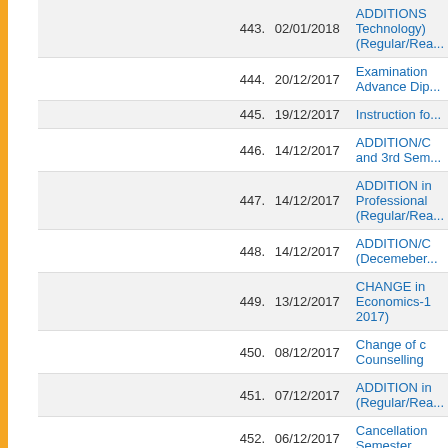| # | Date | Title |
| --- | --- | --- |
| 443. | 02/01/2018 | ADDITIONS Technology) (Regular/Rea... |
| 444. | 20/12/2017 | Examination Advance Dip... |
| 445. | 19/12/2017 | Instruction fo... |
| 446. | 14/12/2017 | ADDITION/C and 3rd Sem... |
| 447. | 14/12/2017 | ADDITION in Professional (Regular/Rea... |
| 448. | 14/12/2017 | ADDITION/C (Decemeber... |
| 449. | 13/12/2017 | CHANGE in Economics-1 2017) |
| 450. | 08/12/2017 | Change of c Counselling |
| 451. | 07/12/2017 | ADDITION in (Regular/Rea... |
| 452. | 06/12/2017 | Cancellation Semester |